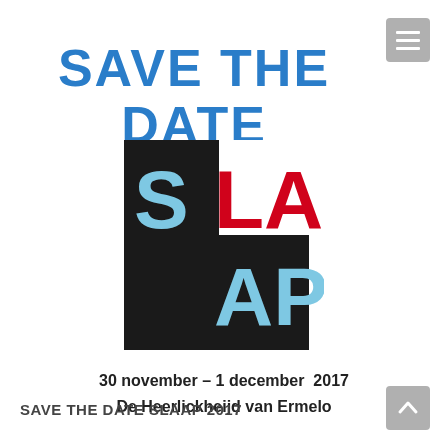SAVE THE DATE
[Figure (logo): SLAAP logo: black square background with letters S (light blue), LA (red), AP (light blue) arranged in two rows]
30 november – 1 december  2017
De Heerlickheijd van Ermelo
SAVE THE DATE SLAAP 2017